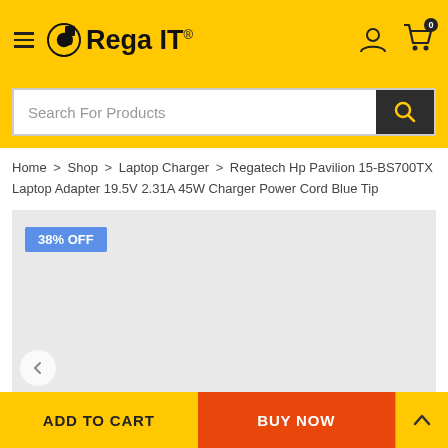Rega IT
Search For Products
Home > Shop > Laptop Charger > Regatech Hp Pavilion 15-BS700TX Laptop Adapter 19.5V 2.31A 45W Charger Power Cord Blue Tip
[Figure (photo): Product image area with 38% OFF badge on light grey background]
ADD TO CART  |  BUY NOW